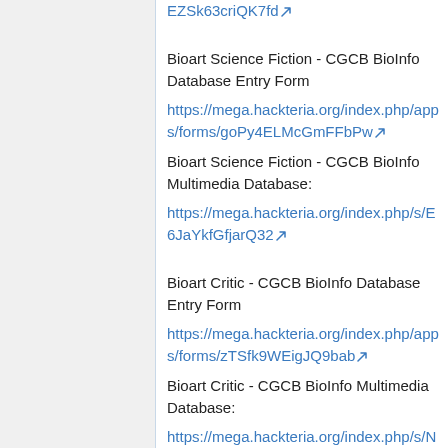EZSk63criQK7fd
Bioart Science Fiction - CGCB BioInfo Database Entry Form
https://mega.hackteria.org/index.php/apps/forms/goPy4ELMcGmFFbPw
Bioart Science Fiction - CGCB BioInfo Multimedia Database:
https://mega.hackteria.org/index.php/s/E6JaYkfGfjarQ32
Bioart Critic - CGCB BioInfo Database Entry Form
https://mega.hackteria.org/index.php/apps/forms/zTSfk9WEigJQ9bab
Bioart Critic - CGCB BioInfo Multimedia Database:
https://mega.hackteria.org/index.php/s/N